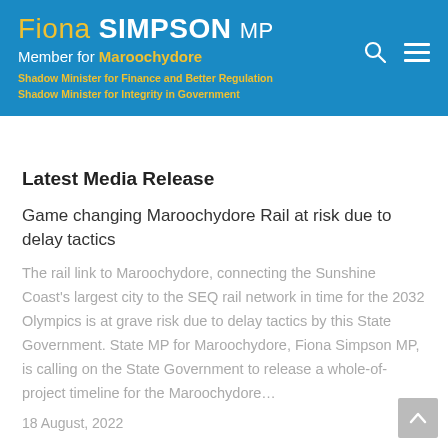Fiona SIMPSON MP | Member for Maroochydore | Shadow Minister for Finance and Better Regulation | Shadow Minister for Integrity in Government
Latest Media Release
Game changing Maroochydore Rail at risk due to delay tactics
The rail link to Maroochydore, connecting the Sunshine Coast's largest city to the SEQ rail network in time for the 2032 Olympics is at grave risk due to delay tactics by this State Government. State MP for Maroochydore, Fiona Simpson MP, is calling on the State Government to release a whole-of-project timeline for the Maroochydore...
18 August, 2022